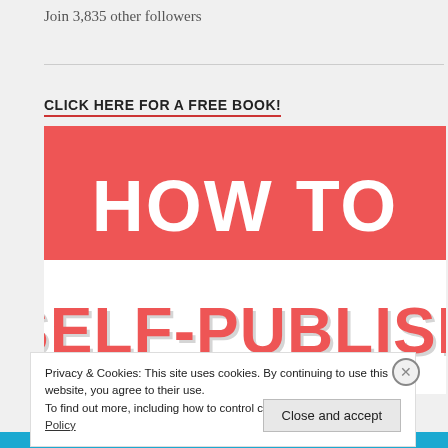Join 3,835 other followers
CLICK HERE FOR A FREE BOOK!
[Figure (illustration): Book cover image for 'HOW TO SELF-PUBLISH' with red background, white bold text on top half and large red bold text on white background on bottom half]
Privacy & Cookies: This site uses cookies. By continuing to use this website, you agree to their use.
To find out more, including how to control cookies, see here: Cookie Policy
Close and accept